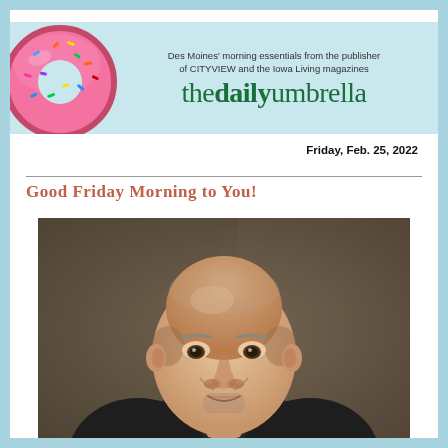Des Moines' morning essentials from the publisher of CITYVIEW and the Iowa Living magazines
the daily umbrella
Friday, Feb. 25, 2022
Good Friday Morning to You!
[Figure (photo): Headshot portrait of a middle-aged bald man with short gray stubble, smiling slightly, wearing a dark jacket, against a blurred brown/gray background.]